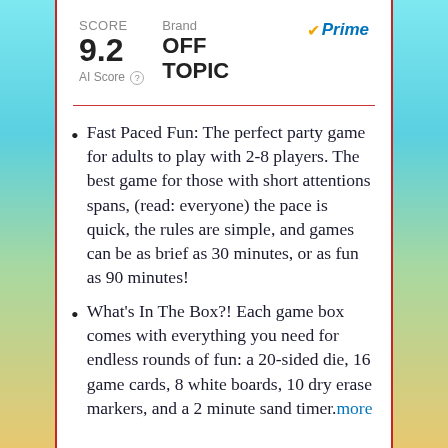SCORE
9.2
AI Score
Brand
OFF TOPIC
Prime
Fast Paced Fun: The perfect party game for adults to play with 2-8 players. The best game for those with short attentions spans, (read: everyone) the pace is quick, the rules are simple, and games can be as brief as 30 minutes, or as fun as 90 minutes!
What's In The Box?! Each game box comes with everything you need for endless rounds of fun: a 20-sided die, 16 game cards, 8 white boards, 10 dry erase markers, and a 2 minute sand timer. more